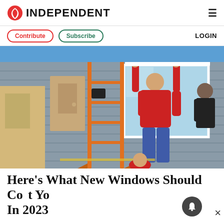INDEPENDENT
Contribute  Subscribe  LOGIN
[Figure (photo): Workers installing a large window on the exterior of a house. A person in a red shirt is reaching up to position the window frame, while an orange ladder stands nearby. The house has grey horizontal siding. Other workers are visible around the window.]
Here's What New Windows Should Cost You In 2023